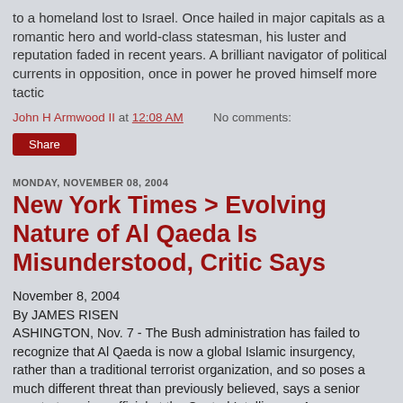to a homeland lost to Israel. Once hailed in major capitals as a romantic hero and world-class statesman, his luster and reputation faded in recent years. A brilliant navigator of political currents in opposition, once in power he proved himself more tactic
John H Armwood II at 12:08 AM    No comments:
Share
MONDAY, NOVEMBER 08, 2004
New York Times > Evolving Nature of Al Qaeda Is Misunderstood, Critic Says
November 8, 2004
By JAMES RISEN
ASHINGTON, Nov. 7 - The Bush administration has failed to recognize that Al Qaeda is now a global Islamic insurgency, rather than a traditional terrorist organization, and so poses a much different threat than previously believed, says a senior counterterrorism official at the Central Intelligence Agency.